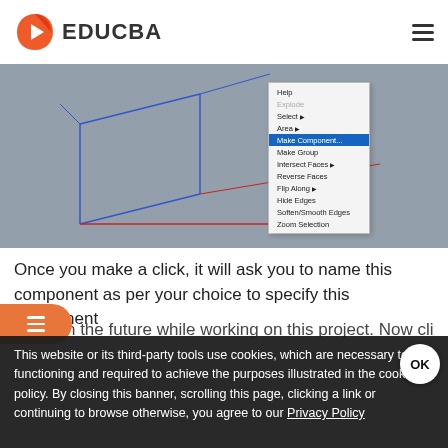EDUCBA
[Figure (screenshot): SketchUp 3D viewport with a context menu open, showing options including Help, Explode, Select, Area, Make Component (highlighted), Make Group, Intersect Faces, Reverse Faces, Flip Along, Hide Edges, Soften/Smooth Edges, Zoom Selection]
Once you make a click, it will ask you to name this component as per your choice to specify this component easily in the future while working on this project. Now cli
[Figure (screenshot): Cookie consent banner overlay with text: This website or its third-party tools use cookies, which are necessary to its functioning and required to achieve the purposes illustrated in the cookie policy. By closing this banner, scrolling this page, clicking a link or continuing to browse otherwise, you agree to our Privacy Policy]
This website or its third-party tools use cookies, which are necessary to its functioning and required to achieve the purposes illustrated in the cookie policy. By closing this banner, scrolling this page, clicking a link or continuing to browse otherwise, you agree to our Privacy Policy